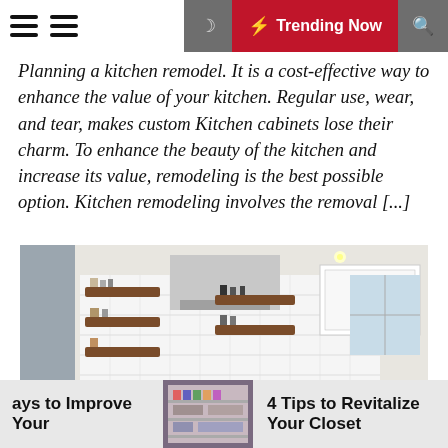Trending Now
Planning a kitchen remodel. It is a cost-effective way to enhance the value of your kitchen. Regular use, wear, and tear, makes custom Kitchen cabinets lose their charm. To enhance the beauty of the kitchen and increase its value, remodeling is the best possible option. Kitchen remodeling involves the removal [...]
[Figure (photo): Interior photo of a modern white kitchen with open wooden shelves, stainless steel appliances, dark countertops, subway tile backsplash, and a stainless steel sink]
ays to Improve Your
[Figure (photo): Thumbnail image of an organized closet]
4 Tips to Revitalize Your Closet